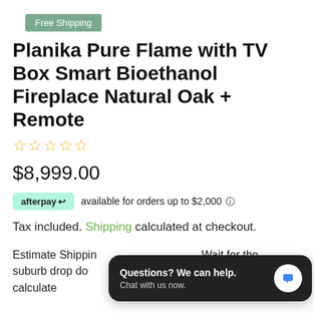Free Shipping
Planika Pure Flame with TV Box Smart Bioethanol Fireplace Natural Oak + Remote
☆☆☆☆☆
$8,999.00
afterpay available for orders up to $2,000 ℹ
Tax included. Shipping calculated at checkout.
Estimate Shipping Wait for the suburb drop down rb (4) Click calculate
[Figure (screenshot): Chat popup overlay: 'Questions? We can help. Chat with us now.' with a blue chat bubble icon on dark background]